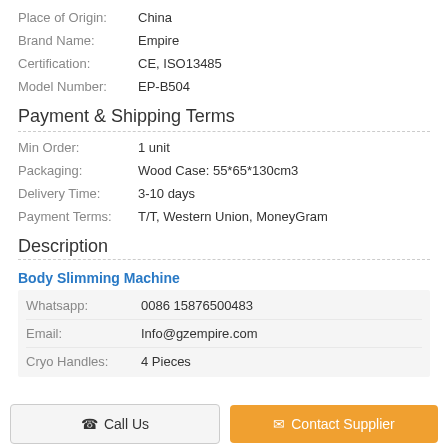Place of Origin: China
Brand Name: Empire
Certification: CE, ISO13485
Model Number: EP-B504
Payment & Shipping Terms
Min Order: 1 unit
Packaging: Wood Case: 55*65*130cm3
Delivery Time: 3-10 days
Payment Terms: T/T, Western Union, MoneyGram
Description
Body Slimming Machine
Whatsapp: 0086 15876500483
Email: Info@gzempire.com
Cryo Handles: 4 Pieces
Call Us
Contact Supplier